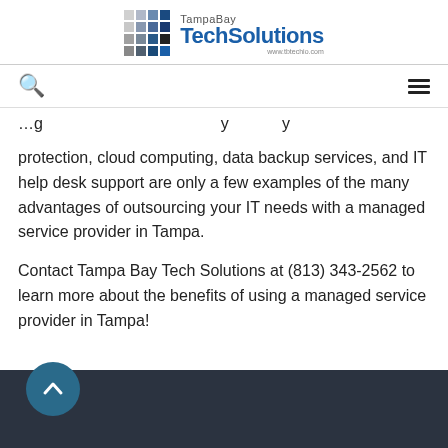TampaBay TechSolutions www.tbtechio.com
protection, cloud computing, data backup services, and IT help desk support are only a few examples of the many advantages of outsourcing your IT needs with a managed service provider in Tampa.
Contact Tampa Bay Tech Solutions at (813) 343-2562 to learn more about the benefits of using a managed service provider in Tampa!